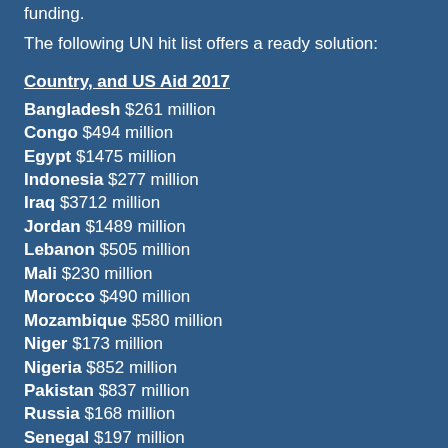funding.
The following UN hit list offers a ready solution:
Country, and US Aid 2017
Bangladesh  $261 million
Congo  $494 million
Egypt  $1475 million
Indonesia  $277 million
Iraq  $3712 million
Jordan  $1489 million
Lebanon  $505 million
Mali  $230 million
Morocco  $490 million
Mozambique  $580 million
Niger  $173 million
Nigeria  $852 million
Pakistan  $837 million
Russia  $168 million
Senegal  $197 million
South Africa  $511 million
Turkey  $153 million
Vietnam  $150 million